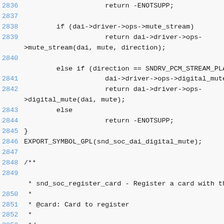[Figure (screenshot): Source code listing showing C code for Linux kernel ASoC (ALSA System on Chip) audio driver functions, lines 2836-2855, with line numbers in blue and code in monospace font on light gray background.]